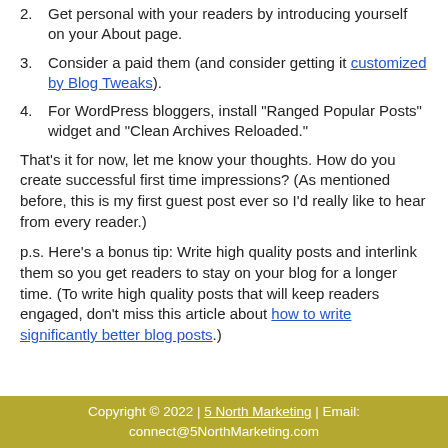2. Get personal with your readers by introducing yourself on your About page.
3. Consider a paid them (and consider getting it customized by Blog Tweaks).
4. For WordPress bloggers, install "Ranged Popular Posts" widget and "Clean Archives Reloaded."
That's it for now, let me know your thoughts. How do you create successful first time impressions? (As mentioned before, this is my first guest post ever so I'd really like to hear from every reader.)
p.s. Here's a bonus tip: Write high quality posts and interlink them so you get readers to stay on your blog for a longer time. (To write high quality posts that will keep readers engaged, don't miss this article about how to write significantly better blog posts.)
Copyright © 2022 | 5 North Marketing | Email: connect@5NorthMarketing.com